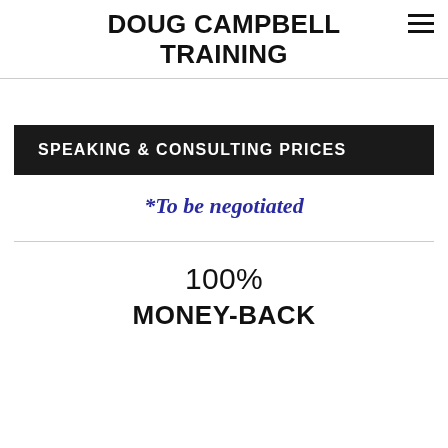DOUG CAMPBELL TRAINING
SPEAKING & CONSULTING PRICES
*To be negotiated
100% MONEY-BACK